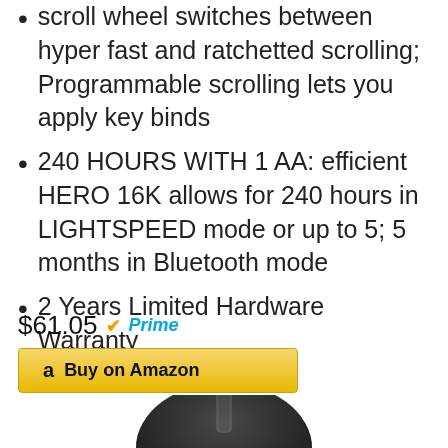scroll wheel switches between hyper fast and ratchetted scrolling; Programmable scrolling lets you apply key binds
240 HOURS WITH 1 AA: efficient HERO 16K allows for 240 hours in LIGHTSPEED mode or up to 5; 5 months in Bluetooth mode
2 Years Limited Hardware Warranty
$61.05 Prime
Buy on Amazon
[Figure (photo): Top portion of a dark-colored computer mouse, showing the scroll wheel area, partially cropped at the bottom of the page.]